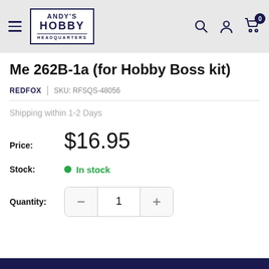Andy's Hobby Headquarters — navigation header with logo, search, account, and cart (0) icons
Me 262B-1a (for Hobby Boss kit)
REDFOX | SKU: RFSQS-48056
Shipping within 1-2 Days
Price: $16.95
Stock: In stock
Quantity: 1